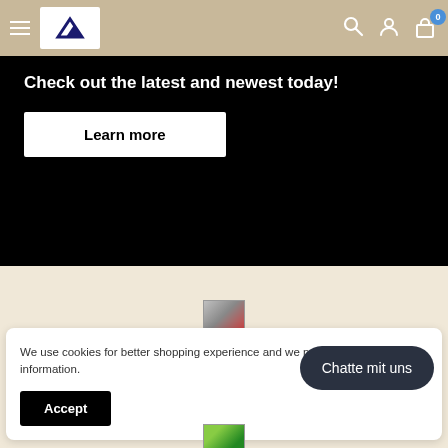Navigation bar with hamburger menu, logo, search icon, account icon, cart icon with badge 0
Check out the latest and newest today!
Learn more
[Figure (photo): Small thumbnail image of a person]
We use cookies for better shopping experience and we never sell customer information.
Accept
Chatte mit uns
[Figure (photo): Small thumbnail image at bottom]